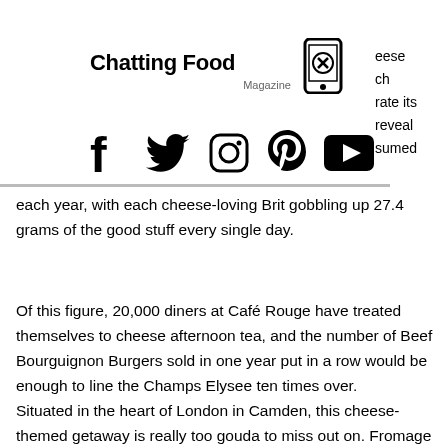[Figure (logo): Chatting Food Magazine logo with phone icon and MENU box, social media icons (Facebook, Twitter, Instagram, Pinterest, YouTube), partial text on right side]
each year, with each cheese-loving Brit gobbling up 27.4 grams of the good stuff every single day.
Of this figure, 20,000 diners at Café Rouge have treated themselves to cheese afternoon tea, and the number of Beef Bourguignon Burgers sold in one year put in a row would be enough to line the Champs Elysee ten times over.
Situated in the heart of London in Camden, this cheese-themed getaway is really too gouda to miss out on. Fromage fanatics will